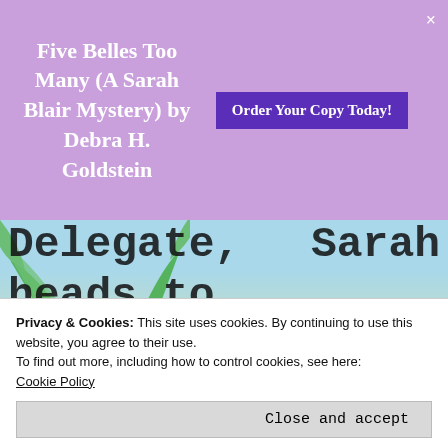Five Belles Too Many (A Sarah Blair Mystery) by Debra H. Goldstein  Order Your Copy Today!
Delegate, Sarah heads to the hospital to visit her cantankerous colleague, Dorothy, who had fallen outside the local
Privacy & Cookies: This site uses cookies. By continuing to use this website, you agree to their use.
To find out more, including how to control cookies, see here:
Cookie Policy
Close and accept
tried to hit her and that